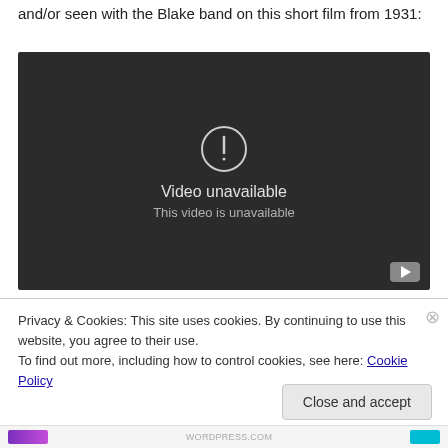and/or seen with the Blake band on this short film from 1931:
[Figure (screenshot): Embedded YouTube video player showing 'Video unavailable - This video is unavailable' error message on dark background with YouTube logo/play button in bottom right corner.]
Privacy & Cookies: This site uses cookies. By continuing to use this website, you agree to their use.
To find out more, including how to control cookies, see here: Cookie Policy
Close and accept